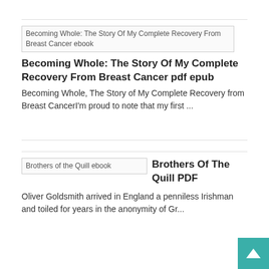[Figure (other): Book cover placeholder image for 'Becoming Whole: The Story Of My Complete Recovery From Breast Cancer ebook']
Becoming Whole: The Story Of My Complete Recovery From Breast Cancer pdf epub
Becoming Whole, The Story of My Complete Recovery from Breast CancerI'm proud to note that my first ...
[Figure (other): Book cover placeholder image for 'Brothers of the Quill ebook']
Brothers Of The Quill PDF
Oliver Goldsmith arrived in England a penniless Irishman and toiled for years in the anonymity of Gr...